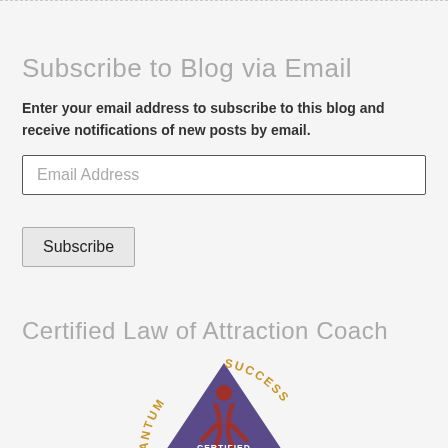Subscribe to Blog via Email
Enter your email address to subscribe to this blog and receive notifications of new posts by email.
Email Address
Subscribe
Certified Law of Attraction Coach
[Figure (logo): Quantum Success Certified Law of Attraction Coach badge — a purple triangle with a red figure and gold arc text reading QUANTUM SUCCESS around the outside, and white text CERTIFIED LAW OF ATTRACTION COACH inside the triangle.]